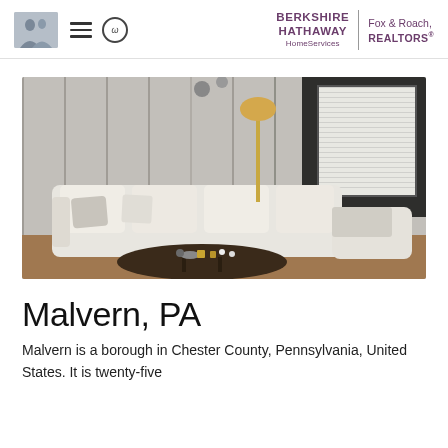Berkshire Hathaway HomeServices | Fox & Roach, REALTORS®
[Figure (photo): Interior photo of a modern living room with a large white sectional sofa, dark wood coffee table with decorative items, tall floor lamp, large window with white blinds, grey wood-paneled walls, and dark accent wall.]
Malvern, PA
Malvern is a borough in Chester County, Pennsylvania, United States. It is twenty-five